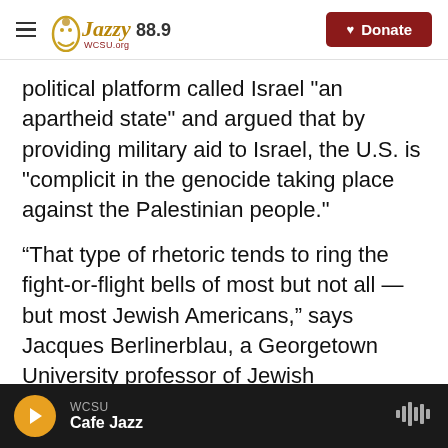Jazzy 88.9 | Donate
political platform called Israel "an apartheid state" and argued that by providing military aid to Israel, the U.S. is "complicit in the genocide taking place against the Palestinian people."
"That type of rhetoric tends to ring the fight-or-flight bells of most but not all — but most Jewish Americans," says Jacques Berlinerblau, a Georgetown University professor of Jewish civilization. "They'll either run away from the conversation because they find that type of oratory so over-the-top or so offensive, or they want to contest it."
WCSU | Cafe Jazz